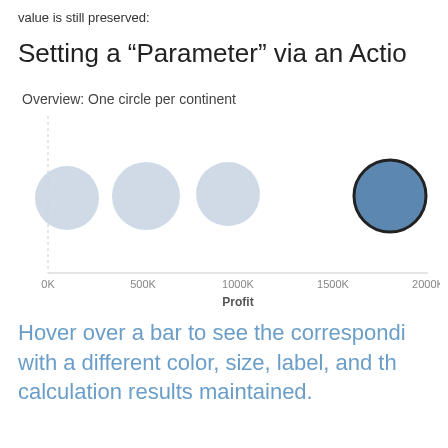value is still preserved:
Setting a “Parameter” via an Actio
[Figure (bubble-chart): Bubble chart showing one circle per continent positioned along a Profit axis (0K to 2000K). Four light-grey circles at roughly 100K, 500K, 900K, and 1000K, and one filled blue circle with dark border at approximately 1800K.]
Hover over a bar to see the correspondi with a different color, size, label, and th calculation results maintained.